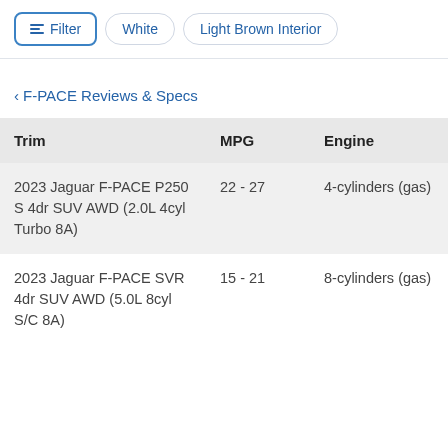Filter | White | Light Brown Interior
< F-PACE Reviews & Specs
| Trim | MPG | Engine | Startin |
| --- | --- | --- | --- |
| 2023 Jaguar F-PACE P250 S 4dr SUV AWD (2.0L 4cyl Turbo 8A) | 22 - 27 | 4-cylinders (gas) | $61,88 |
| 2023 Jaguar F-PACE SVR 4dr SUV AWD (5.0L 8cyl S/C 8A) | 15 - 21 | 8-cylinders (gas) | $99,20 |